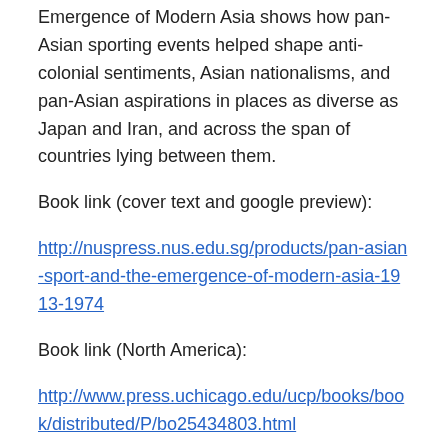Emergence of Modern Asia shows how pan-Asian sporting events helped shape anti-colonial sentiments, Asian nationalisms, and pan-Asian aspirations in places as diverse as Japan and Iran, and across the span of countries lying between them.
Book link (cover text and google preview):
http://nuspress.nus.edu.sg/products/pan-asian-sport-and-the-emergence-of-modern-asia-1913-1974
Book link (North America):
http://www.press.uchicago.edu/ucp/books/book/distributed/P/bo25434803.html
Share this post: